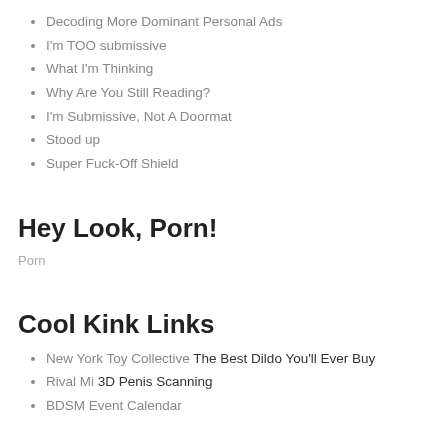Decoding More Dominant Personal Ads
I'm TOO submissive
What I'm Thinking
Why Are You Still Reading?
I'm Submissive, Not A Doormat
Stood up
Super Fuck-Off Shield
Hey Look, Porn!
Porn
Cool Kink Links
New York Toy Collective The Best Dildo You'll Ever Buy
Rival Mi 3D Penis Scanning
BDSM Event Calendar